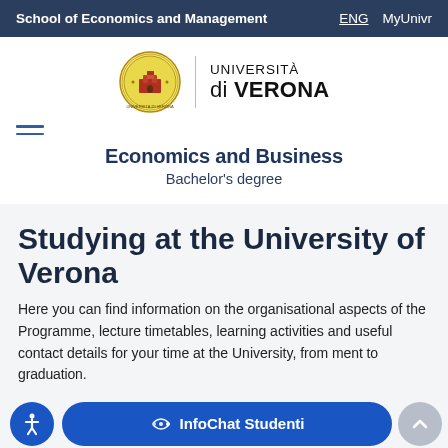School of Economics and Management | ENG | MyUnivr
[Figure (logo): Università di Verona logo with circular university seal and text UNIVERSITÀ di VERONA]
Economics and Business
Bachelor's degree
Studying at the University of Verona
Here you can find information on the organisational aspects of the Programme, lecture timetables, learning activities and useful contact details for your time at the University, from ment to graduation.